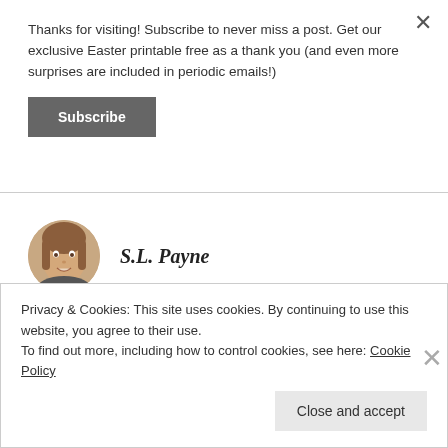Thanks for visiting! Subscribe to never miss a post. Get our exclusive Easter printable free as a thank you (and even more surprises are included in periodic emails!)
Subscribe
[Figure (photo): Circular avatar photo of S.L. Payne, a woman with light brown hair, smiling]
S.L. Payne
AUGUST 4, 2014 AT 1:17 PM
Privacy & Cookies: This site uses cookies. By continuing to use this website, you agree to their use. To find out more, including how to control cookies, see here: Cookie Policy
Close and accept